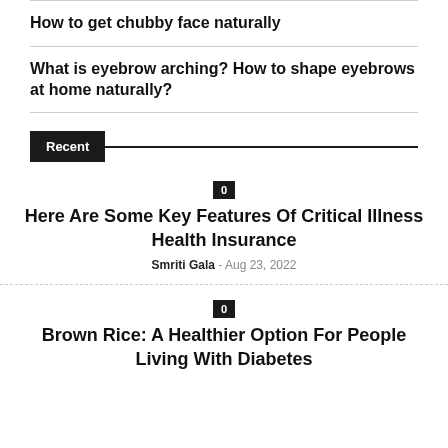How to get chubby face naturally
What is eyebrow arching? How to shape eyebrows at home naturally?
Recent
0
Here Are Some Key Features Of Critical Illness Health Insurance
Smriti Gala - Aug 23, 2022
0
Brown Rice: A Healthier Option For People Living With Diabetes